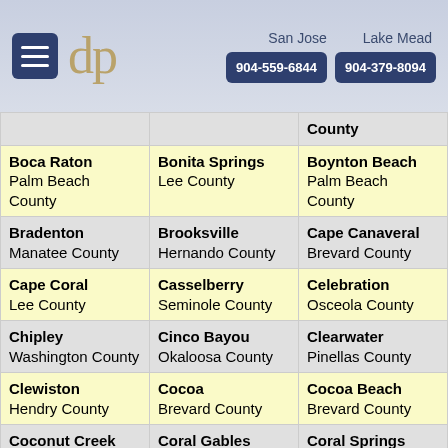[Figure (screenshot): Website header with hamburger menu, dp logo, San Jose and Lake Mead location labels, and phone numbers 904-559-6844 and 904-379-8094]
| City 1 | City 2 | City 3 |
| --- | --- | --- |
| County (partial) |  | County (partial) |
| Boca Raton
Palm Beach County | Bonita Springs
Lee County | Boynton Beach
Palm Beach County |
| Bradenton
Manatee County | Brooksville
Hernando County | Cape Canaveral
Brevard County |
| Cape Coral
Lee County | Casselberry
Seminole County | Celebration
Osceola County |
| Chipley
Washington County | Cinco Bayou
Okaloosa County | Clearwater
Pinellas County |
| Clewiston
Hendry County | Cocoa
Brevard County | Cocoa Beach
Brevard County |
| Coconut Creek
Broward County | Coral Gables
Miami-Dade County | Coral Springs
Broward County |
| Crystal River | Dania Beach | Davie |